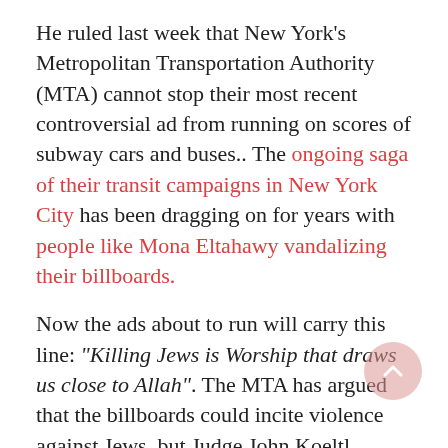He ruled last week that New York's Metropolitan Transportation Authority (MTA) cannot stop their most recent controversial ad from running on scores of subway cars and buses.. The ongoing saga of their transit campaigns in New York City has been dragging on for years with people like Mona Eltahawy vandalizing their billboards.
Now the ads about to run will carry this line: "Killing Jews is Worship that draws us close to Allah". The MTA has argued that the billboards could incite violence against Jews, but Judge John Koeltl rejected that idea saying that the MTA "underestimate the tolerant quality of New Yorkers and overestimate the potential impact of these fleeting advertisements." Judge Koeltl added "Moreover, there is no evidence that seeing one of these advertisements on the back of a bus would be